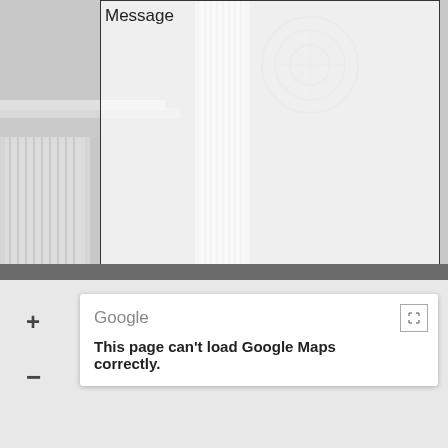[Figure (screenshot): Grayscale background photo of marble columns and architectural details visible behind a web contact form]
Message
Phone Number
7 + 15 =
Submit
Google
This page can't load Google Maps correctly.